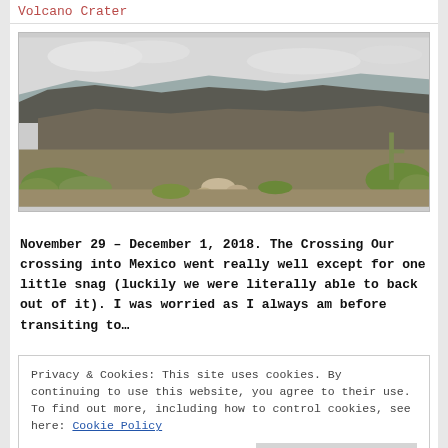Volcano Crater
[Figure (photo): Wide panoramic photo of a volcanic crater with dark rocky walls, scrubby green vegetation in the foreground, and a cloudy sky in the background.]
November 29 – December 1, 2018. The Crossing Our crossing into Mexico went really well except for one little snag (luckily we were literally able to back out of it). I was worried as I always am before transiting to…
Privacy & Cookies: This site uses cookies. By continuing to use this website, you agree to their use.
To find out more, including how to control cookies, see here: Cookie Policy
Posted by Duwan • Posted on December 12, 2018